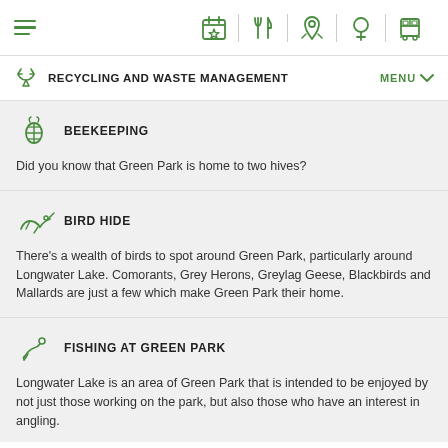Navigation header with hamburger menu and icons: calendar, cutlery, map pin, tree, bus
RECYCLING AND WASTE MANAGEMENT
BEEKEEPING
Did you know that Green Park is home to two hives?
BIRD HIDE
There's a wealth of birds to spot around Green Park, particularly around Longwater Lake. Comorants, Grey Herons, Greylag Geese, Blackbirds and Mallards are just a few which make Green Park their home.
FISHING AT GREEN PARK
Longwater Lake is an area of Green Park that is intended to be enjoyed by not just those working on the park, but also those who have an interest in angling.